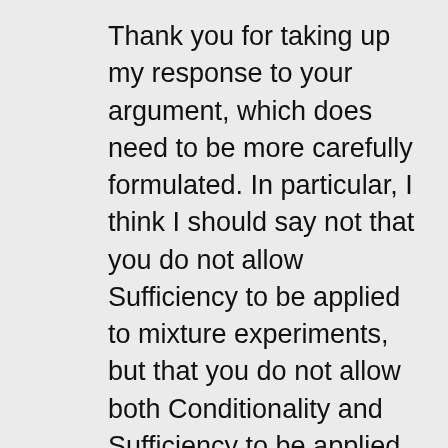Thank you for taking up my response to your argument, which does need to be more carefully formulated. In particular, I think I should say not that you do not allow Sufficiency to be applied to mixture experiments, but that you do not allow both Conditionality and Sufficiency to be applied to mixture experiments at one and the same time. (Thus, you do not allow